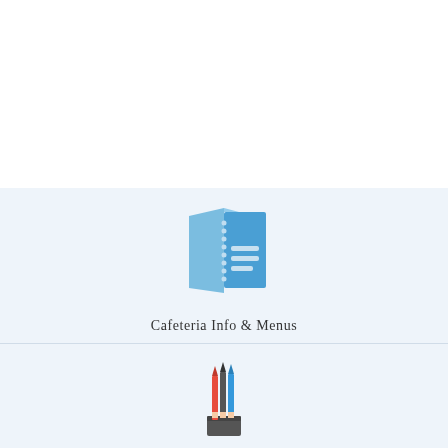[Figure (illustration): Blue menu/booklet icon - a folded booklet with white horizontal lines representing text on a blue background]
Cafeteria Info & Menus
[Figure (illustration): Pencil cup/holder icon with colored pencils and pens sticking out of a dark container]